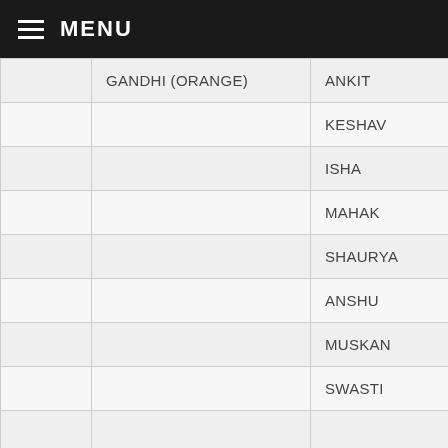≡ MENU
|  |  | STUDENT | CLASS |
| --- | --- | --- | --- |
|  | GANDHI (ORANGE) | ANKIT | XI E |
|  |  | KESHAV | IX D |
|  |  | ISHA | IX D |
|  |  | MAHAK | XI B |
|  |  | SHAURYA | VIII B |
|  |  | ANSHU | VIII F |
|  |  | MUSKAN | VIII G |
|  |  | SWASTI | VII E |
|  |  |  |  |
|  | INDIRA  (RED) | CHAYNIKA | IX D |
|  |  |  |  |